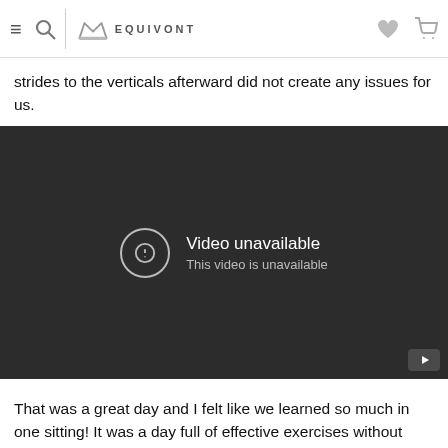EQUIVONT navigation bar with hamburger menu, search, logo, heart and cart icons
strides to the verticals afterward did not create any issues for us.
[Figure (screenshot): Embedded video player showing 'Video unavailable — This video is unavailable' error message on a dark background, with a YouTube button in the bottom right corner.]
That was a great day and I felt like we learned so much in one sitting! It was a day full of effective exercises without using a big